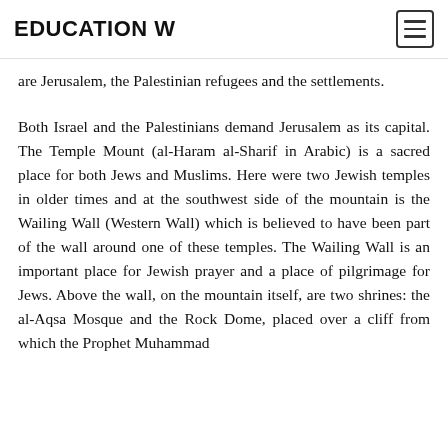EDUCATION W
are Jerusalem, the Palestinian refugees and the settlements.
Both Israel and the Palestinians demand Jerusalem as its capital. The Temple Mount (al-Haram al-Sharif in Arabic) is a sacred place for both Jews and Muslims. Here were two Jewish temples in older times and at the southwest side of the mountain is the Wailing Wall (Western Wall) which is believed to have been part of the wall around one of these temples. The Wailing Wall is an important place for Jewish prayer and a place of pilgrimage for Jews. Above the wall, on the mountain itself, are two shrines: the al-Aqsa Mosque and the Rock Dome, placed over a cliff from which the Prophet Muhammad